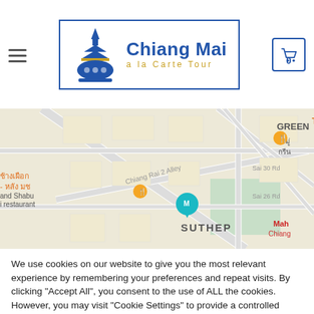[Figure (logo): Chiang Mai a la Carte Tour logo in a blue-bordered box with a temple icon and text]
[Figure (map): Google Maps screenshot showing Suthep area in Chiang Mai with markers for Tong Tem Toh restaurant and a museum/landmark pin, Chiang Rai 2 Alley label visible]
We use cookies on our website to give you the most relevant experience by remembering your preferences and repeat visits. By clicking "Accept All", you consent to the use of ALL the cookies. However, you may visit "Cookie Settings" to provide a controlled consent.
Cookie Settings
Accept All